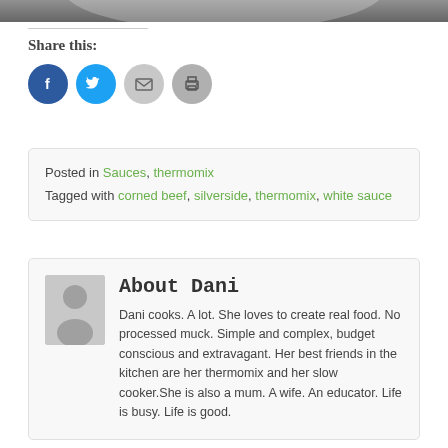[Figure (photo): Top partial image, gray/dark background, cropped food photo]
Share this:
[Figure (infographic): Social sharing buttons: Facebook (blue circle), Twitter (cyan circle), Email (gray circle), Print (gray circle)]
Posted in Sauces, thermomix
Tagged with corned beef, silverside, thermomix, white sauce
About Dani
Dani cooks. A lot. She loves to create real food. No processed muck. Simple and complex, budget conscious and extravagant. Her best friends in the kitchen are her thermomix and her slow cooker.She is also a mum. A wife. An educator. Life is busy. Life is good.